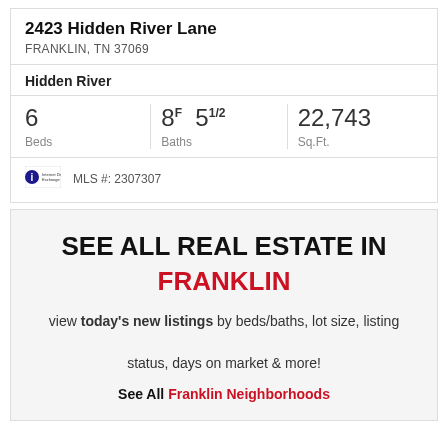2423 Hidden River Lane
FRANKLIN, TN 37069
Hidden River
| Beds | Baths | Sq.Ft. |
| --- | --- | --- |
| 6 | 8F  51/2 | 22,743 |
MLS #: 2307307
SEE ALL REAL ESTATE IN FRANKLIN
view today's new listings by beds/baths, lot size, listing status, days on market & more!
See All Franklin Neighborhoods